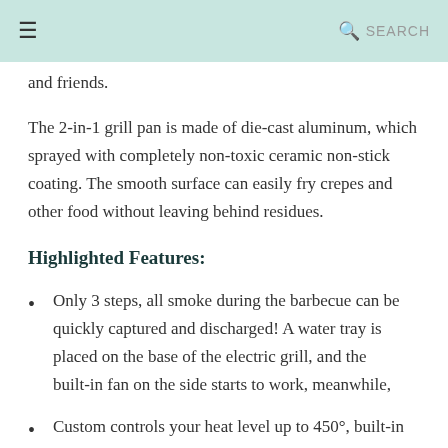≡  🔍 SEARCH
and friends.
The 2-in-1 grill pan is made of die-cast aluminum, which sprayed with completely non-toxic ceramic non-stick coating. The smooth surface can easily fry crepes and other food without leaving behind residues.
Highlighted Features:
Only 3 steps, all smoke during the barbecue can be quickly captured and discharged! A water tray is placed on the base of the electric grill, and the built-in fan on the side starts to work, meanwhile,
Custom controls your heat level up to 450°, built-in